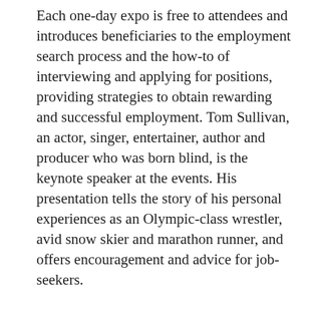Each one-day expo is free to attendees and introduces beneficiaries to the employment search process and the how-to of interviewing and applying for positions, providing strategies to obtain rewarding and successful employment. Tom Sullivan, an actor, singer, entertainer, author and producer who was born blind, is the keynote speaker at the events. His presentation tells the story of his personal experiences as an Olympic-class wrestler, avid snow skier and marathon runner, and offers encouragement and advice for job-seekers.
check this out